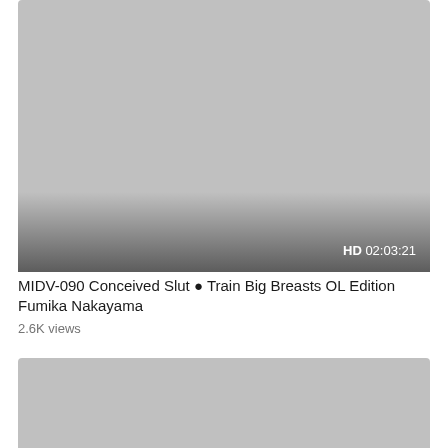[Figure (screenshot): Video thumbnail placeholder - grey rectangle with dark gradient at bottom, showing HD badge and duration 02:03:21 in bottom right corner]
MIDV-090 Conceived Slut ● Train Big Breasts OL Edition Fumika Nakayama
2.6K views
[Figure (screenshot): Second video thumbnail placeholder - grey rectangle, partially visible]